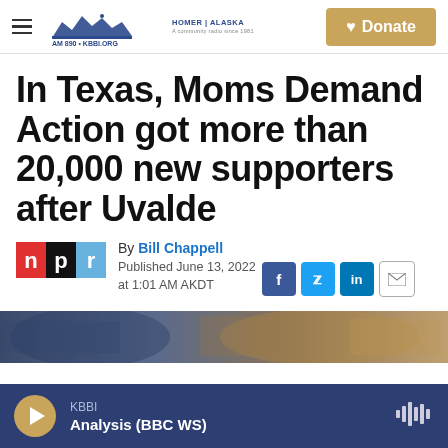KBBI AM 890 KBBI.ORG Homer Alaska — Donate
In Texas, Moms Demand Action got more than 20,000 new supporters after Uvalde
By Bill Chappell
Published June 13, 2022 at 1:01 AM AKDT
[Figure (photo): Partial photo strip showing protest or rally scene]
KBBI — Analysis (BBC WS) — audio player bar